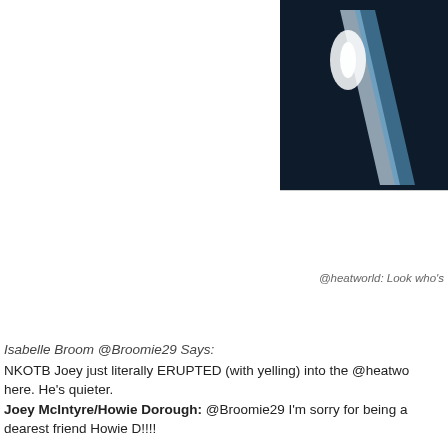[Figure (photo): Partial photo showing a dark background with what appears to be a ribbon/bow shape in blue and white light on a dark navy/black background]
@heatworld: Look who's
Isabelle Broom @Broomie29 Says:
NKOTB Joey just literally ERUPTED (with yelling) into the @heatwo here. He's quieter.
Joey McIntyre/Howie Dorough: @Broomie29 I'm sorry for being a dearest friend Howie D!!!!
Sabrina fitzpatrick @JoeNDubSnoflake asks:
Has father hood changed u guys?
JM/HD: @JoeNDubSnoflake  It's taken away a lot of needed sleep i
DANIELLEonKHITS @RadioPrincessD asks:
Hey @heatworld this question is for @howie_d i'm the biggest backs
JM/HD: @RadioPrincessD @howie_d got a balloon and some flowe
Tami Magalhães @tami_magalhaes asks:
Howie is no possibility of the tour Back to Me in south america?
JM/HD: @tami_magalhaes...